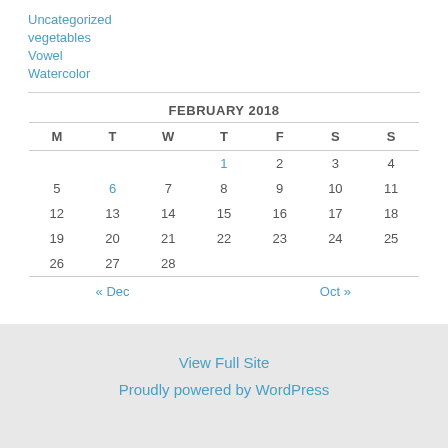Uncategorized
vegetables
Vowel
Watercolor
| M | T | W | T | F | S | S |
| --- | --- | --- | --- | --- | --- | --- |
|  |  |  | 1 | 2 | 3 | 4 |
| 5 | 6 | 7 | 8 | 9 | 10 | 11 |
| 12 | 13 | 14 | 15 | 16 | 17 | 18 |
| 19 | 20 | 21 | 22 | 23 | 24 | 25 |
| 26 | 27 | 28 |  |  |  |  |
| « Dec |  |  |  |  | Oct » |  |
View Full Site
Proudly powered by WordPress